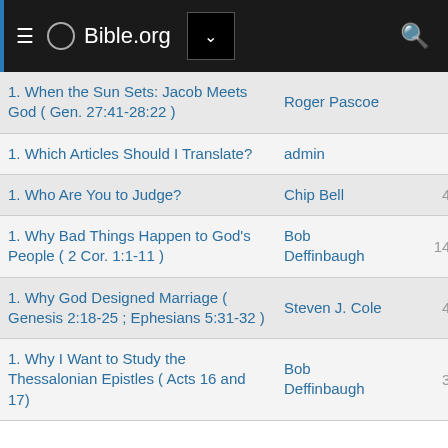Bible.org
| Title | Author | Views |
| --- | --- | --- |
| 1. When the Sun Sets: Jacob Meets God ( Gen. 27:41-28:22 ) | Roger Pascoe | 8,881 |
| 1. Which Articles Should I Translate? | admin | 6,987 |
| 1. Who Are You to Judge? | Chip Bell | 46,435 |
| 1. Why Bad Things Happen to God's People ( 2 Cor. 1:1-11 ) | Bob Deffinbaugh | 149,348 |
| 1. Why God Designed Marriage ( Genesis 2:18-25 ; Ephesians 5:31-32 ) | Steven J. Cole | 42,358 |
| 1. Why I Want to Study the Thessalonian Epistles ( Acts 16 and 17) | Bob Deffinbaugh | 34,529 |